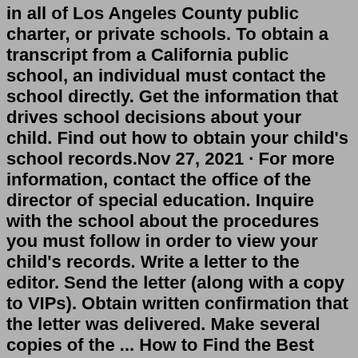in all of Los Angeles County public charter, or private schools. To obtain a transcript from a California public school, an individual must contact the school directly. Get the information that drives school decisions about your child. Find out how to obtain your child's school records.Nov 27, 2021 · For more information, contact the office of the director of special education. Inquire with the school about the procedures you must follow in order to view your child's records. Write a letter to the editor. Send the letter (along with a copy to VIPs). Obtain written confirmation that the letter was delivered. Make several copies of the ... How to Find the Best Online Schools for High Schoolers. How to Obtain a Minnesota Fishing License the Easy Way. How to Request Military Medical Records Online.The Student Records Department is here to supply student records for former high school students. These records are used for a number of reasons such as furthering their education, proof of graduation for employment, graduation verification for those joining